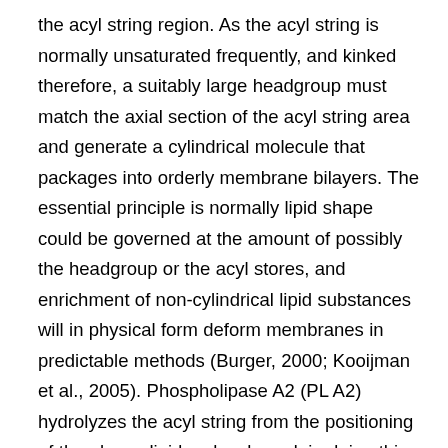the acyl string region. As the acyl string is normally unsaturated frequently, and kinked therefore, a suitably large headgroup must match the axial section of the acyl string area and generate a cylindrical molecule that packages into orderly membrane bilayers. The essential principle is normally lipid shape could be governed at the amount of possibly the headgroup or the acyl stores, and enrichment of non-cylindrical lipid substances will in physical form deform membranes in predictable methods (Burger, 2000; Kooijman et al., 2005). Phospholipase A2 (PL A2) hydrolyzes the acyl string from the positioning of the glycerolipid molecule and, in doing this, creates a molecule using a glycerol backbone esterified to a fatty acidity at also to the headgroup at placement with another fatty AS 602801